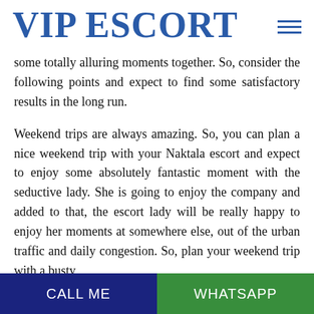VIP ESCORT
some totally alluring moments together. So, consider the following points and expect to find some satisfactory results in the long run.
Weekend trips are always amazing. So, you can plan a nice weekend trip with your Naktala escort and expect to enjoy some absolutely fantastic moment with the seductive lady. She is going to enjoy the company and added to that, the escort lady will be really happy to enjoy her moments at somewhere else, out of the urban traffic and daily congestion. So, plan your weekend trip with a busty
CALL ME   WHATSAPP